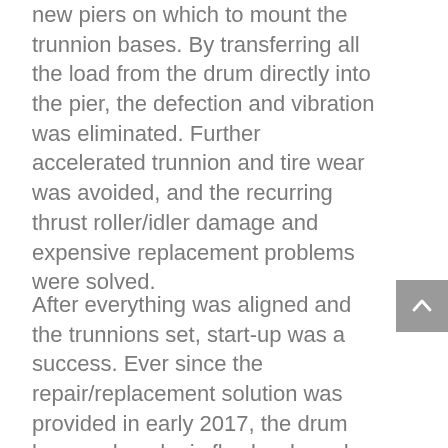new piers on which to mount the trunnion bases. By transferring all the load from the drum directly into the pier, the defection and vibration was eliminated. Further accelerated trunnion and tire wear was avoided, and the recurring thrust roller/idler damage and expensive replacement problems were solved.
After everything was aligned and the trunnions set, start-up was a success. Ever since the repair/replacement solution was provided in early 2017, the drum has produced mix flawlessly and under control. The trunnion drive motor amps dropped, and stack temps are the best they have ever been. Major pains were alleviated, the most/most discomfort cont...